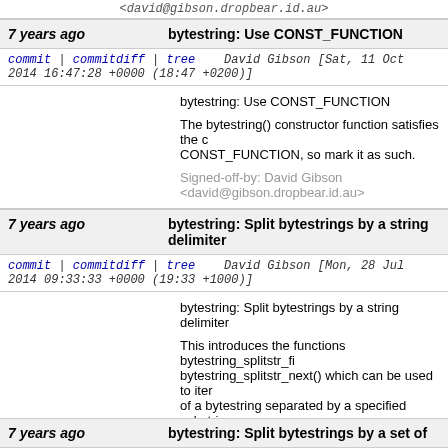<david@gibson.dropbear.id.au>
7 years ago   bytestring: Use CONST_FUNCTION
commit | commitdiff | tree   David Gibson [Sat, 11 Oct 2014 16:47:28 +0000 (18:47 +0200)]
bytestring: Use CONST_FUNCTION

The bytestring() constructor function satisfies the c CONST_FUNCTION, so mark it as such.

Signed-off-by: David Gibson <david@gibson.dropbear.id.au>
7 years ago   bytestring: Split bytestrings by a string delimiter
commit | commitdiff | tree   David Gibson [Mon, 28 Jul 2014 09:33:33 +0000 (19:33 +1000)]
bytestring: Split bytestrings by a string delimiter

This introduces the functions bytestring_splitstr_fi bytestring_splitstr_next() which can be used to iter of a bytestring separated by a specified substring.

Signed-off-by: David Gibson <david@gibson.dropbear.id.au>
7 years ago   bytestring: Split bytestrings by a set of